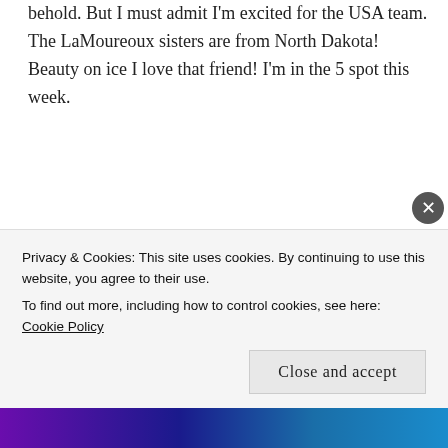behold. But I must admit I'm excited for the USA team. The LaMoureoux sisters are from North Dakota! Beauty on ice I love that friend! I'm in the 5 spot this week.
★ Like
Reply
Marie says:
March 2, 2018 at 10:31 am
Privacy & Cookies: This site uses cookies. By continuing to use this website, you agree to their use.
To find out more, including how to control cookies, see here: Cookie Policy
Close and accept